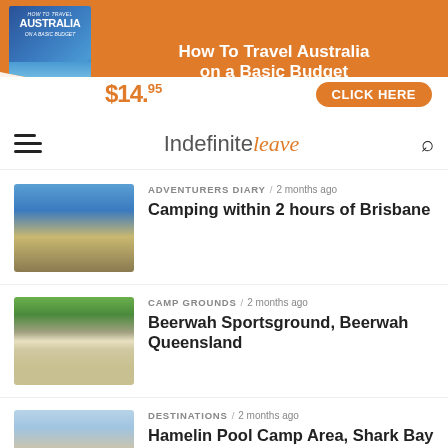[Figure (infographic): Orange banner advertisement for 'How To Travel Australia on a Basic Budget' book, priced at $14.95 with a CLICK HERE button]
Indefinite leave
ADVENTURERS DIARY / 2 months ago
Camping within 2 hours of Brisbane
CAMP GROUNDS / 2 months ago
Beerwah Sportsground, Beerwah Queensland
DESTINATIONS / 2 months ago
Hamelin Pool Camp Area, Shark Bay WA